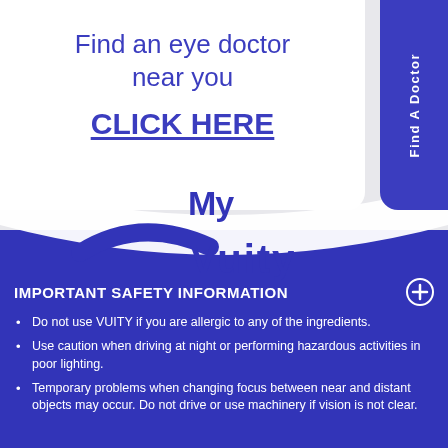Find an eye doctor near you
CLICK HERE
Find A Doctor
[Figure (logo): My Vuity logo with stylized arc element, partially visible behind blue wave]
IMPORTANT SAFETY INFORMATION
Do not use VUITY if you are allergic to any of the ingredients.
Use caution when driving at night or performing hazardous activities in poor lighting.
Temporary problems when changing focus between near and distant objects may occur. Do not drive or use machinery if vision is not clear.